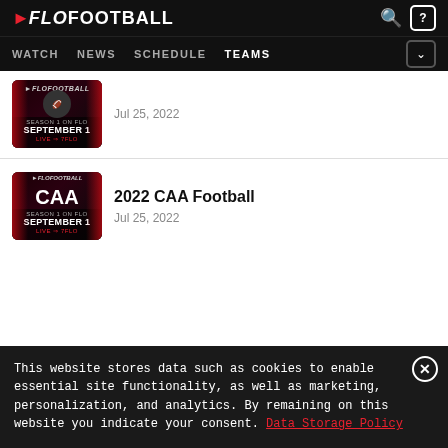FLOFOOTBALL — WATCH, NEWS, SCHEDULE, TEAMS
[Figure (screenshot): Thumbnail image with dark background, red leaf decorations, SEPTEMBER 1 LIVE ON 7FLO badge]
Jul 25, 2022
[Figure (screenshot): Thumbnail image for 2022 CAA Football with dark background, CAA logo, red leaf decorations, SEPTEMBER 1 LIVE ON 7FLO badge]
2022 CAA Football
Jul 25, 2022
This website stores data such as cookies to enable essential site functionality, as well as marketing, personalization, and analytics. By remaining on this website you indicate your consent. Data Storage Policy